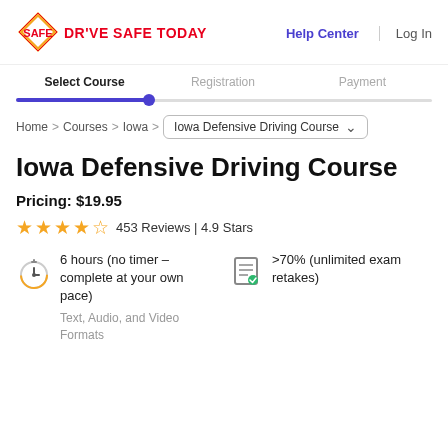[Figure (logo): Drive Safe Today logo with red diamond shape and red text]
Help Center  Log In
Select Course   Registration   Payment
Home > Courses > Iowa > Iowa Defensive Driving Course
Iowa Defensive Driving Course
Pricing: $19.95
453 Reviews | 4.9 Stars
6 hours (no timer – complete at your own pace)
Text, Audio, and Video Formats
>70% (unlimited exam retakes)